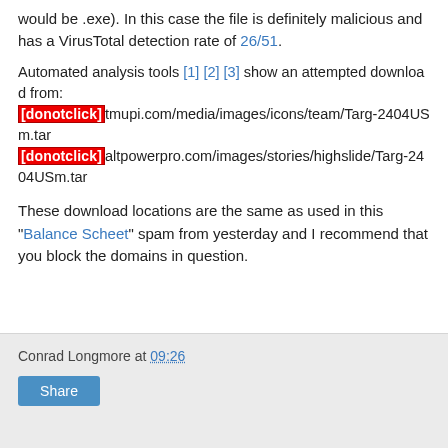would be .exe). In this case the file is definitely malicious and has a VirusTotal detection rate of 26/51.
Automated analysis tools [1] [2] [3] show an attempted download from:
[donotclick]tmupi.com/media/images/icons/team/Targ-2404USm.tar
[donotclick]altpowerpro.com/images/stories/highslide/Targ-2404USm.tar
These download locations are the same as used in this "Balance Scheet" spam from yesterday and I recommend that you block the domains in question.
Conrad Longmore at 09:26  Share